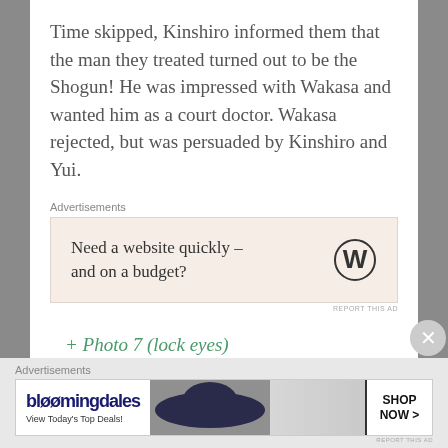Time skipped, Kinshiro informed them that the man they treated turned out to be the Shogun! He was impressed with Wakasa and wanted him as a court doctor. Wakasa rejected, but was persuaded by Kinshiro and Yui.
[Figure (screenshot): WordPress advertisement: 'Need a website quickly – and on a budget?' with WordPress logo]
+ Photo 7 (lock eyes)
[Figure (screenshot): Bloomingdale's advertisement: 'View Today's Top Deals!' with Shop Now button]